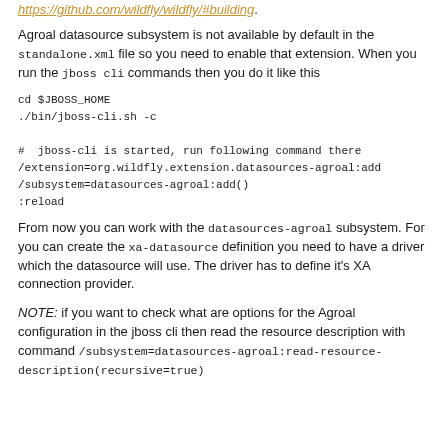https://github.com/wildfly/wildfly/#building.
Agroal datasource subsystem is not available by default in the standalone.xml file so you need to enable that extension. When you run the jboss cli commands then you do it like this
cd $JBOSS_HOME
./bin/jboss-cli.sh -c

#  jboss-cli is started, run following command there
/extension=org.wildfly.extension.datasources-agroal:add
/subsystem=datasources-agroal:add()
:reload
From now you can work with the datasources-agroal subsystem. For you can create the xa-datasource definition you need to have a driver which the datasource will use. The driver has to define it's XA connection provider.
NOTE: if you want to check what are options for the Agroal configuration in the jboss cli then read the resource description with command /subsystem=datasources-agroal:read-resource-description(recursive=true)